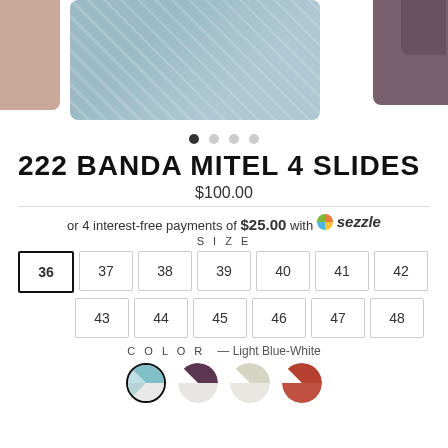[Figure (photo): Product images of 222 Banda Mitel 4 Slides: partial salmon-colored slipper on left, light blue/grey patterned slide in center, dark purple slide on right]
• • • •
222 BANDA MITEL 4 SLIDES
$100.00
or 4 interest-free payments of $25.00 with Sezzle
SIZE
36 37 38 39 40 41 42 43 44 45 46 47 48
COLOR — Light Blue-White